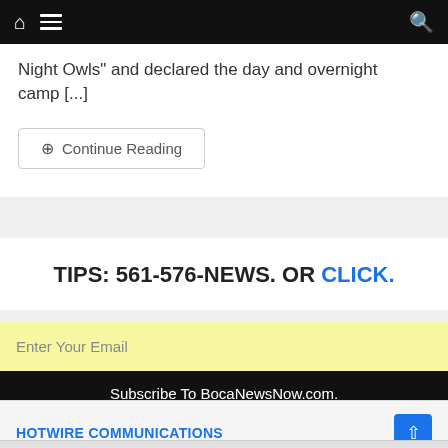Navigation bar with home, menu, and search icons
Night Owls" and declared the day and overnight camp [...]
Continue Reading
TIPS: 561-576-NEWS. OR CLICK.
Enter Your Email
Subscribe To BocaNewsNow.com.
HOTWIRE COMMUNICATIONS